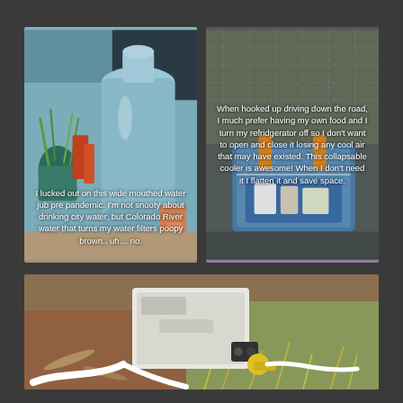[Figure (photo): Photo of a large wide-mouthed blue/grey water jug with plants and other items visible in the background. White overlay text reads: I lucked out on this wide mouthed water jub pre pandemic. I'm not snooty about drinking city water, but Colorado River water that turns my water filters poopy brown.. uh… no.]
[Figure (photo): Photo of a collapsible cooler inside what appears to be an RV or vehicle interior with wicker/mesh chair visible. White overlay text reads: When hooked up driving down the road, I much prefer having my own food and I turn my refridgerator off so I don't want to open and close it losing any cool air that may have existed. This collapsable cooler is awesome! When I don't need it I flatten it and save space.]
[Figure (photo): Photo of a white box-shaped water filter/pump device on dirt and grass ground with white tubing and yellow connector visible.]